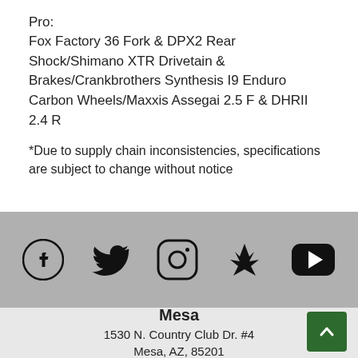Pro:
Fox Factory 36 Fork & DPX2 Rear Shock/Shimano XTR Drivetain & Brakes/Crankbrothers Synthesis I9 Enduro Carbon Wheels/Maxxis Assegai 2.5 F & DHRII 2.4 R
*Due to supply chain inconsistencies, specifications are subject to change without notice
[Figure (other): Social media icons: Facebook, Twitter, Instagram, Yelp, YouTube on a gray background bar]
Mesa
1530 N. Country Club Dr. #4
Mesa, AZ, 85201